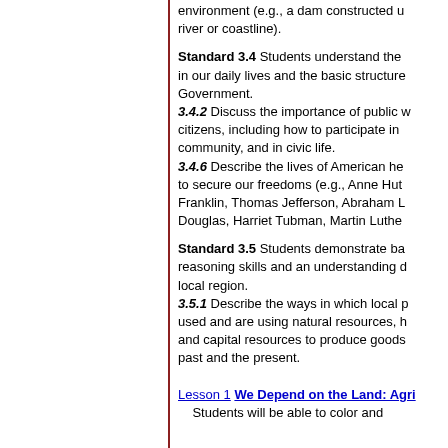environment (e.g., a dam constructed u… river or coastline).
Standard 3.4 Students understand the… in our daily lives and the basic structure… Government.
3.4.2 Discuss the importance of public … citizens, including how to participate in… community, and in civic life.
3.4.6 Describe the lives of American he… to secure our freedoms (e.g., Anne Hut… Franklin, Thomas Jefferson, Abraham L… Douglas, Harriet Tubman, Martin Luthe…
Standard 3.5 Students demonstrate ba… reasoning skills and an understanding d… local region.
3.5.1 Describe the ways in which local p… used and are using natural resources, h… and capital resources to produce goods… past and the present.
Lesson 1 We Depend on the Land: Agri…
Students will be able to color and…